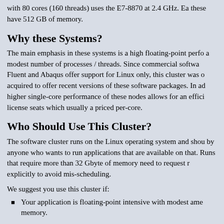with 80 cores (160 threads) uses the E7-8870 at 2.4 GHz. Ea these have 512 GB of memory.
Why these Systems?
The main emphasis in these systems is a high floating-point perfo a modest number of processes / threads. Since commercial softwa Fluent and Abaqus offer support for Linux only, this cluster was o acquired to offer recent versions of these software packages. In ad higher single-core performance of these nodes allows for an effici license seats which usually a priced per-core.
Who Should Use This Cluster?
The software cluster runs on the Linux operating system and shou by anyone who wants to run applications that are available on that Runs that require more than 32 Gbyte of memory need to request r explicitly to avoid mis-scheduling.
We suggest you use this cluster if:
Your application is floating-point intensive with modest ame memory.